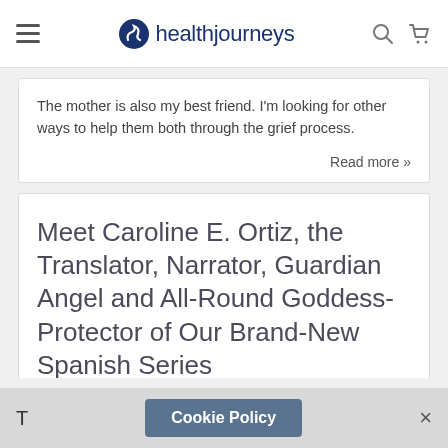healthjourneys
The mother is also my best friend. I’m looking for other ways to help them both through the grief process.
Read more »
Meet Caroline E. Ortiz, the Translator, Narrator, Guardian Angel and All-Round Goddess-Protector of Our Brand-New Spanish Series
T   Cookie Policy   ×